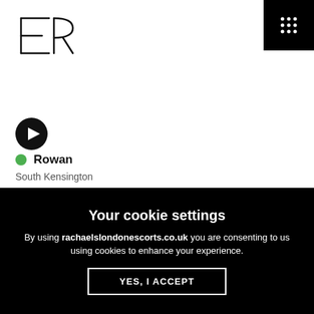[Figure (logo): RE logo — stylized reversed R and E letters in black outline, top-left corner]
[Figure (other): 3x3 grid of white dots on black background — hamburger/menu icon, top-right corner]
[Figure (other): Black circle with white right-pointing play triangle icon]
● Rowan
South Kensington
Your cookie settings
By using rachaelslondonescorts.co.uk you are consenting to us using cookies to enhance your experience.
YES, I ACCEPT